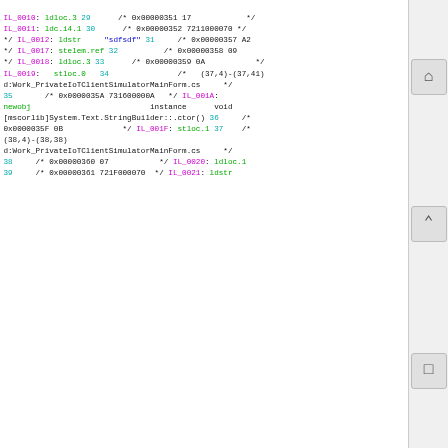IL_0010: ldloc.3 29 /* 0x00000351 17 */ IL_0011: ldc.i4.1 30 /* 0x00000352 7211000070 */ IL_0012: ldstr "sdfsdf" 31 /* 0x00000357 A2 */ IL_0017: stelem.ref 32 /* 0x00000358 09 */ IL_0018: ldloc.3 33 /* 0x00000359 0A */ IL_0019: stloc.0 34 /* (37,4)-(37,41) d:Work_PrivateIoTClientSimulatorMainForm.cs */ 35 /* 0x0000035A 731600000A */ IL_001A: newobj instance void [mscorlib]System.Text.StringBuilder::.ctor() 36 /* 0x0000035F 0B */ IL_001F: stloc.1 37 /* (38,4)-(38,38) d:Work_PrivateIoTClientSimulatorMainForm.cs */ 38 /* 0x00000360 07 */ IL_0020: ldloc.1 39 /* 0x00000361 721F000070 */ IL_0021: ldstr